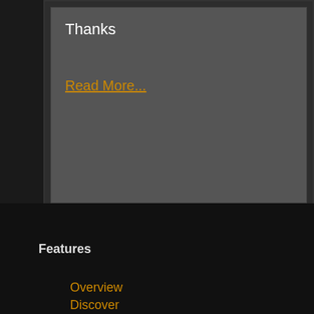Thanks
Read More...
More
Features
Overview
Discover
Platforms